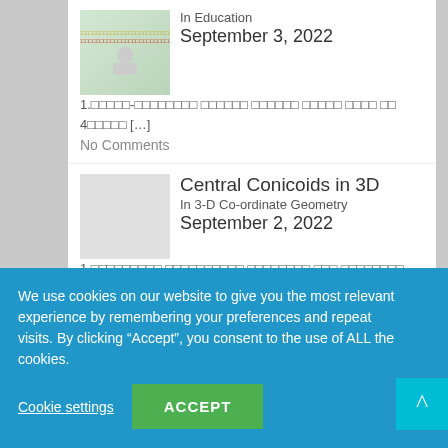In Education
September 3, 2022
1.□□□□□-□□□□□□□□ □□□□□□ □□□□□□ □□□□□ □□□□ □□ 4□□□□□ [...]
No Comments
Central Conicoids in 3D
In 3-D Co-ordinate Geometry
September 2, 2022
1.□□□□□□□□□ □□□□□□□□□□ □□□□□□□□ □□□ □□□□□□□□ □□□□□□ [...]
No Comments
4 Best Tips to Mastery in Mathematics
We use cookies on our website to give you the most relevant experience by remembering your preferences and repeat visits. By clicking "Accept", you consent to the use of ALL the cookies.
Cookie settings
ACCEPT